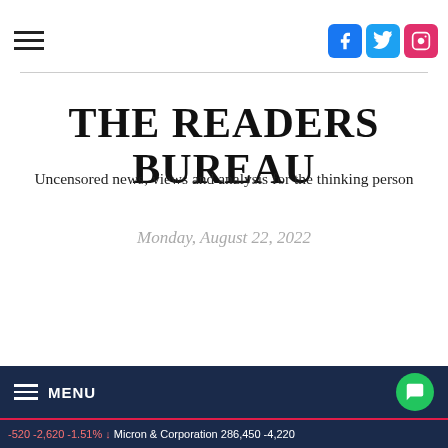THE READERS BUREAU — social icons: Facebook, Twitter, Instagram
THE READERS BUREAU
Uncensored news, views and analysis for the thinking person
Monday, August 22, 2022
MENU | chat bubble | ticker: -520 -2,620 -1.51% ↓ Micron & Corporation 286,450 -4,220...